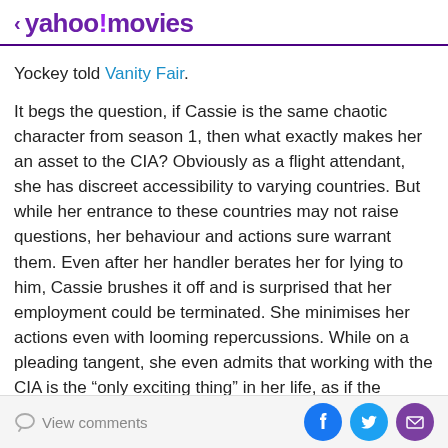< yahoo!movies
Yockey told Vanity Fair.
It begs the question, if Cassie is the same chaotic character from season 1, then what exactly makes her an asset to the CIA? Obviously as a flight attendant, she has discreet accessibility to varying countries. But while her entrance to these countries may not raise questions, her behaviour and actions sure warrant them. Even after her handler berates her for lying to him, Cassie brushes it off and is surprised that her employment could be terminated. She minimises her actions even with looming repercussions. While on a pleading tangent, she even admits that working with the CIA is the “only exciting thing” in her life, as if the severity of the
View comments